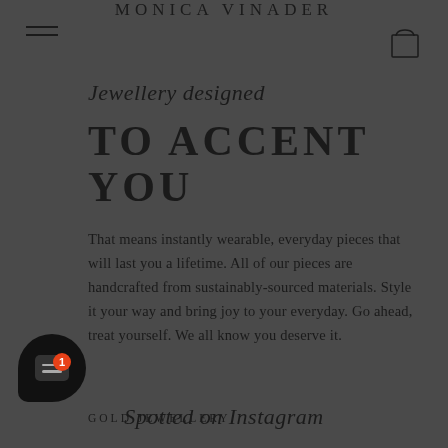MONICA VINADER
Jewellery designed TO ACCENT YOU
That means instantly wearable, everyday pieces that will last you a lifetime. All of our pieces are handcrafted from sustainably-sourced materials. Style it your way and bring joy to your everyday. Go ahead, treat yourself. We all know you deserve it.
GOLD JEWELLERY
Spotted on Instagram